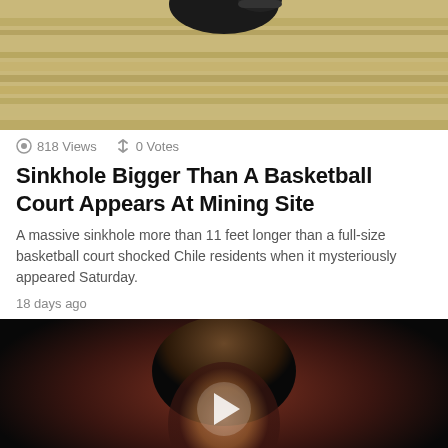[Figure (photo): Aerial view of a sinkhole at a mining site, showing layered rock strata and a dark void at the top of the frame.]
818 Views  ↕ 0 Votes
Sinkhole Bigger Than A Basketball Court Appears At Mining Site
A massive sinkhole more than 11 feet longer than a full-size basketball court shocked Chile residents when it mysteriously appeared Saturday.
18 days ago
[Figure (screenshot): Video thumbnail showing a man's face against a dark red background with a play button overlay, and a Tally ad banner at the bottom reading 'Fast credit card payoff' with a 'Download Now' button.]